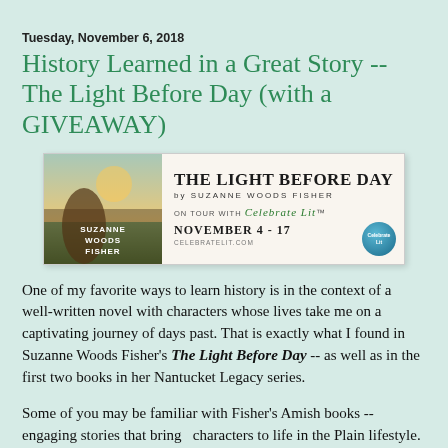Tuesday, November 6, 2018
History Learned in a Great Story -- The Light Before Day (with a GIVEAWAY)
[Figure (illustration): Book tour banner for 'The Light Before Day' by Suzanne Woods Fisher. Left side shows book cover with a woman and rural scene. Right side shows title 'THE LIGHT BEFORE DAY by SUZANNE WOODS FISHER', 'ON TOUR WITH Celebrate Lit', 'NOVEMBER 4 - 17', 'celebratelit.com', with a circular Celebrate Lit logo.]
One of my favorite ways to learn history is in the context of a well-written novel with characters whose lives take me on a captivating journey of days past. That is exactly what I found in Suzanne Woods Fisher's The Light Before Day -- as well as in the first two books in her Nantucket Legacy series.
Some of you may be familiar with Fisher's Amish books -- engaging stories that bring  characters to life in the Plain lifestyle. She has done just as great a job with these stories about a group who is probably even less known than the